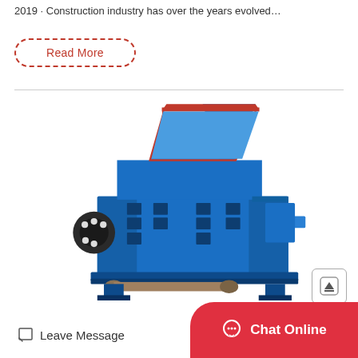2019 · Construction industry has over the years evolved…
Read More
[Figure (photo): Industrial blue brick-making or clay extruder machine with red hopper on top, conveyor belt at the bottom, and mechanical drive components on the left side. The machine is photographed against a white background.]
Leave Message
Chat Online